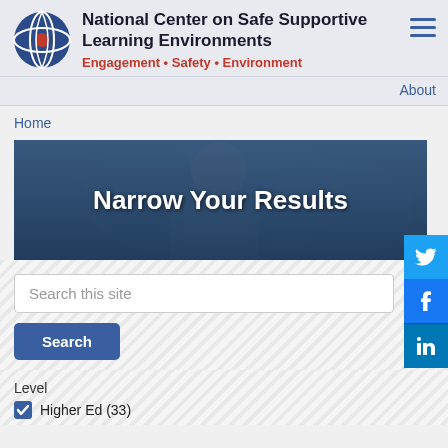National Center on Safe Supportive Learning Environments — Engagement • Safety • Environment
About
Home
[Figure (screenshot): Hero banner image showing a child working on a laptop, with 'Narrow Your Results' text overlay]
Search this site
Search
Level
Higher Ed (33)